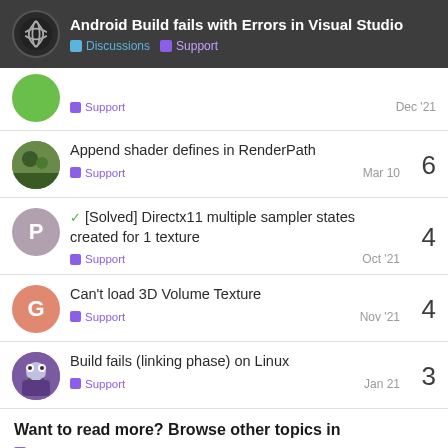Android Build fails with Errors in Visual Studio — Discussions  Support
Support   Dec '21
Append shader defines in RenderPath   Support   Mar 10   6
[Solved] Directx11 multiple sampler states created for 1 texture   Support   Oct '21   4
Can't load 3D Volume Texture   Support   Nov '21   4
Build fails (linking phase) on Linux   Support   Jan 21   3
Want to read more? Browse other topics in
Support or view latest topics